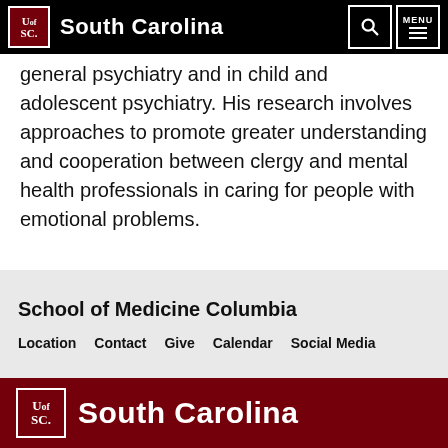South Carolina
general psychiatry and in child and adolescent psychiatry. His research involves approaches to promote greater understanding and cooperation between clergy and mental health professionals in caring for people with emotional problems.
School of Medicine Columbia
Location  Contact  Give  Calendar  Social Media
South Carolina